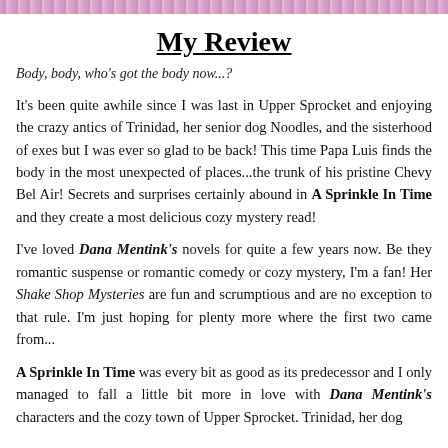My Review
Body, body, who's got the body now...?
It's been quite awhile since I was last in Upper Sprocket and enjoying the crazy antics of Trinidad, her senior dog Noodles, and the sisterhood of exes but I was ever so glad to be back! This time Papa Luis finds the body in the most unexpected of places...the trunk of his pristine Chevy Bel Air! Secrets and surprises certainly abound in A Sprinkle In Time and they create a most delicious cozy mystery read!
I've loved Dana Mentink's novels for quite a few years now. Be they romantic suspense or romantic comedy or cozy mystery, I'm a fan! Her Shake Shop Mysteries are fun and scrumptious and are no exception to that rule. I'm just hoping for plenty more where the first two came from...
A Sprinkle In Time was every bit as good as its predecessor and I only managed to fall a little bit more in love with Dana Mentink's characters and the cozy town of Upper Sprocket. Trinidad, her dog